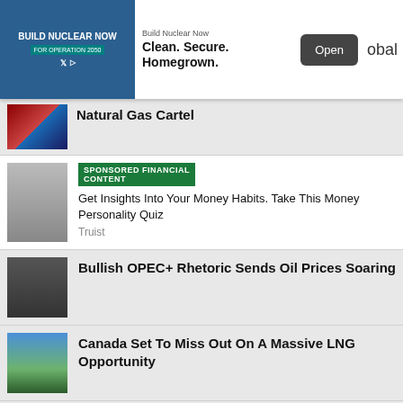[Figure (screenshot): Advertisement banner: Build Nuclear Now. Clean. Secure. Homegrown. with Open button]
Natural Gas Cartel
[Figure (photo): Sponsored financial content: Get Insights Into Your Money Habits. Take This Money Personality Quiz - Truist]
Bullish OPEC+ Rhetoric Sends Oil Prices Soaring
Canada Set To Miss Out On A Massive LNG Opportunity
Oil Rally Halts Despite Crude Inventory Draw
China's Steel Industry Is In Crisis